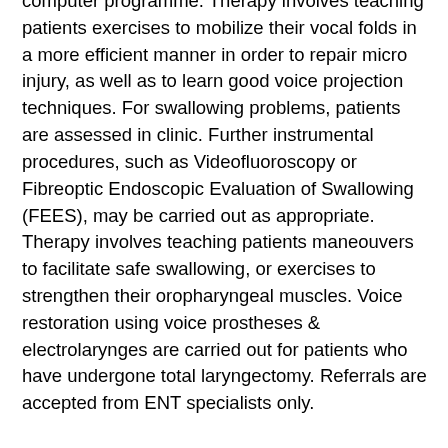computer programme. Therapy involves teaching patients exercises to mobilize their vocal folds in a more efficient manner in order to repair micro injury, as well as to learn good voice projection techniques. For swallowing problems, patients are assessed in clinic. Further instrumental procedures, such as Videofluoroscopy or Fibreoptic Endoscopic Evaluation of Swallowing (FEES), may be carried out as appropriate. Therapy involves teaching patients maneouvers to facilitate safe swallowing, or exercises to strengthen their oropharyngeal muscles. Voice restoration using voice prostheses & electrolarynges are carried out for patients who have undergone total laryngectomy. Referrals are accepted from ENT specialists only.